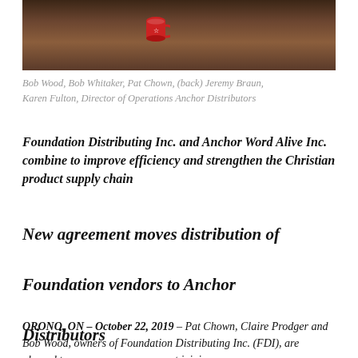[Figure (photo): Photo of people at a meeting/event, including a red mug visible on a table with dark background]
Bob Wood, Bob Whitaker, Pat Chown, (back) Jeremy Braun, Karen Fulton, Director of Operations Anchor Distributors
Foundation Distributing Inc. and Anchor Word Alive Inc. combine to improve efficiency and strengthen the Christian product supply chain
New agreement moves distribution of Foundation vendors to Anchor Distributors
ORONO, ON – October 22, 2019 – Pat Chown, Claire Prodger and Bob Wood, owners of Foundation Distributing Inc. (FDI), are pleased to announce an agreement joining